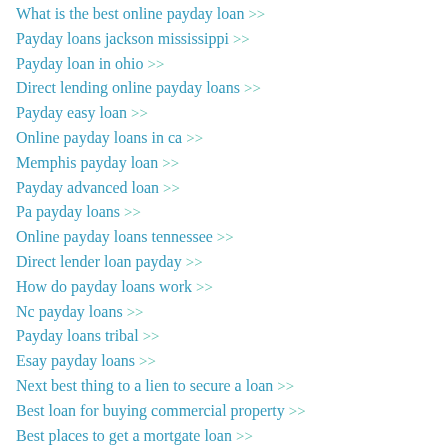What is the best online payday loan >>
Payday loans jackson mississippi >>
Payday loan in ohio >>
Direct lending online payday loans >>
Payday easy loan >>
Online payday loans in ca >>
Memphis payday loan >>
Payday advanced loan >>
Pa payday loans >>
Online payday loans tennessee >>
Direct lender loan payday >>
How do payday loans work >>
Nc payday loans >>
Payday loans tribal >>
Esay payday loans >>
Next best thing to a lien to secure a loan >>
Best loan for buying commercial property >>
Best places to get a mortgate loan >>
Best lending company philippines >>